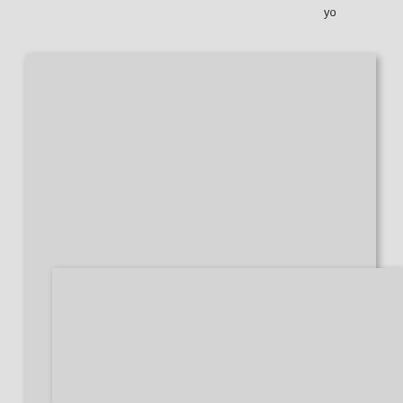yo
[Figure (photo): Photo of Fijian transportation scene, large rectangular image area with gray background]
14 May 2006, 1:11PM
Fijian transportation. In all likelihood this guy shares this horse with the rest of his village.
Lo ha